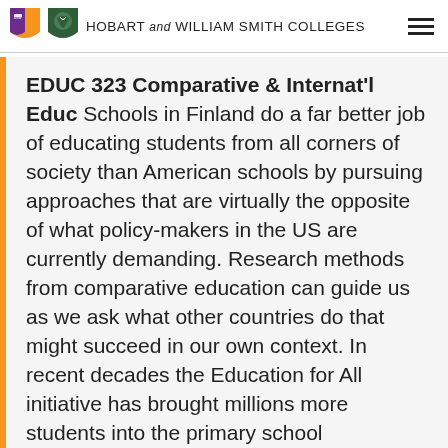HOBART AND WILLIAM SMITH COLLEGES
EDUC 323 Comparative & Internat'l Educ Schools in Finland do a far better job of educating students from all corners of society than American schools by pursuing approaches that are virtually the opposite of what policy-makers in the US are currently demanding. Research methods from comparative education can guide us as we ask what other countries do that might succeed in our own context. In recent decades the Education for All initiative has brought millions more students into the primary school classrooms of poor countries. Yet in 2017 fewer than the endemic initiative had...